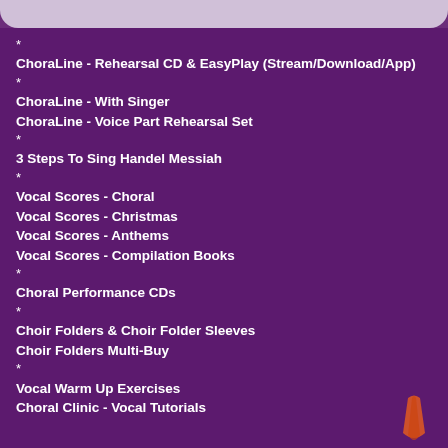*
ChoraLine - Rehearsal CD & EasyPlay (Stream/Download/App)
*
ChoraLine - With Singer
ChoraLine - Voice Part Rehearsal Set
*
3 Steps To Sing Handel Messiah
*
Vocal Scores - Choral
Vocal Scores - Christmas
Vocal Scores - Anthems
Vocal Scores - Compilation Books
*
Choral Performance CDs
*
Choir Folders & Choir Folder Sleeves
Choir Folders Multi-Buy
*
Vocal Warm Up Exercises
Choral Clinic - Vocal Tutorials